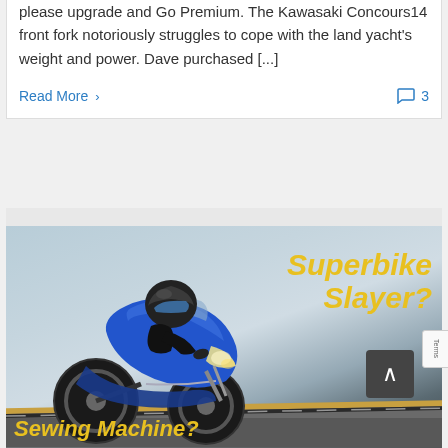please upgrade and Go Premium. The Kawasaki Concours14 front fork notoriously struggles to cope with the land yacht's weight and power. Dave purchased [...]
Read More ›
💬 3
[Figure (photo): A rider on a blue sport motorcycle leaning into a corner on a racing circuit. The background is a light blue sky. Yellow bold italic text reads 'Superbike Slayer?' in the upper right, and 'Sewing Machine?' in the lower left.]